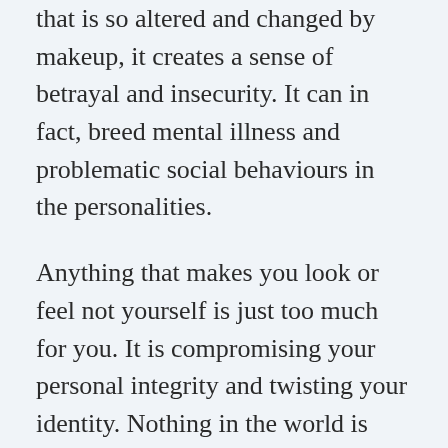that is so altered and changed by makeup, it creates a sense of betrayal and insecurity. It can in fact, breed mental illness and problematic social behaviours in the personalities.
Anything that makes you look or feel not yourself is just too much for you. It is compromising your personal integrity and twisting your identity. Nothing in the world is worthy of doing that. Same goes with your makeup regime.
This was a brief overview on the topic.